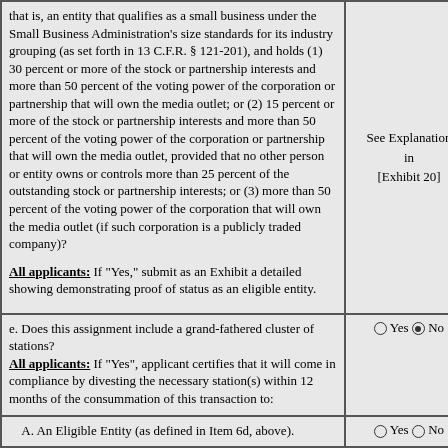that is, an entity that qualifies as a small business under the Small Business Administration's size standards for its industry grouping (as set forth in 13 C.F.R. § 121-201), and holds (1) 30 percent or more of the stock or partnership interests and more than 50 percent of the voting power of the corporation or partnership that will own the media outlet; or (2) 15 percent or more of the stock or partnership interests and more than 50 percent of the voting power of the corporation or partnership that will own the media outlet, provided that no other person or entity owns or controls more than 25 percent of the outstanding stock or partnership interests; or (3) more than 50 percent of the voting power of the corporation that will own the media outlet (if such corporation is a publicly traded company)? All applicants: If "Yes," submit as an Exhibit a detailed showing demonstrating proof of status as an eligible entity.
See Explanation in [Exhibit 20]
e. Does this assignment include a grand-fathered cluster of stations? All applicants: If "Yes", applicant certifies that it will come in compliance by divesting the necessary station(s) within 12 months of the consummation of this transaction to:
Yes No (No selected)
A. An Eligible Entity (as defined in Item 6d, above).
Yes No